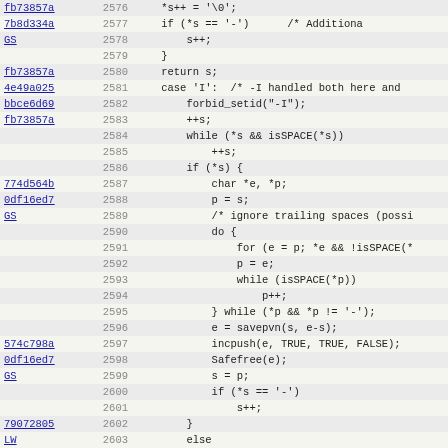| commit | line | code |
| --- | --- | --- |
| fb73857a | 2576 | *s++ = '\0'; |
| 7b8d334a | 2577 | if (*s == '-')      /* Additiona |
| GS | 2578 |     s++; |
|  | 2579 | } |
| fb73857a | 2580 | return s; |
| 4e49a025 | 2581 | case 'I':  /* -I handled both here and |
| bbce6d69 | 2582 |     forbid_setid("-I"); |
| fb73857a | 2583 |     ++s; |
|  | 2584 |     while (*s && isSPACE(*s)) |
|  | 2585 |         ++s; |
|  | 2586 |     if (*s) { |
| 774d564b | 2587 |         char *e, *p; |
| 0df16ed7 | 2588 |         p = s; |
| GS | 2589 |         /* ignore trailing spaces (possi |
|  | 2590 |         do { |
|  | 2591 |             for (e = p; *e && !isSPACE(* |
|  | 2592 |             p = e; |
|  | 2593 |             while (isSPACE(*p)) |
|  | 2594 |                 p++; |
|  | 2595 |         } while (*p && *p != '-'); |
|  | 2596 |         e = savepvn(s, e-s); |
| 574c798a | 2597 |         incpush(e, TRUE, TRUE, FALSE); |
| 0df16ed7 | 2598 |         Safefree(e); |
| GS | 2599 |         s = p; |
|  | 2600 |         if (*s == '-') |
|  | 2601 |             s++; |
| 79072805 | 2602 |     } |
| LW | 2603 |     else |
| a67e862a | 2604 |         Perl_croak(aTHX_ "No directory s |
| fb73857a | 2605 |     return s; |
| 79072805 | 2606 | case 'l': |
| 3280af22 | 2607 |     PL_minus_l = TRUE; |
| 79072805 | 2608 |  |